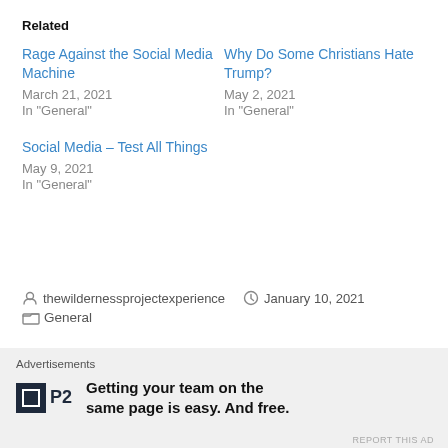Related
Rage Against the Social Media Machine
March 21, 2021
In "General"
Why Do Some Christians Hate Trump?
May 2, 2021
In "General"
Social Media – Test All Things
May 9, 2021
In "General"
thewildernessprojectexperience   January 10, 2021
General
Advertisements
Getting your team on the same page is easy. And free.